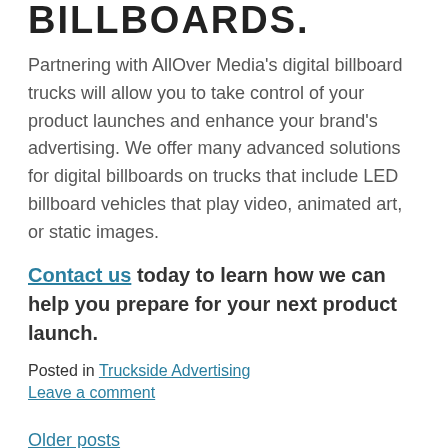BILLBOARDS.
Partnering with AllOver Media’s digital billboard trucks will allow you to take control of your product launches and enhance your brand’s advertising. We offer many advanced solutions for digital billboards on trucks that include LED billboard vehicles that play video, animated art, or static images.
Contact us today to learn how we can help you prepare for your next product launch.
Posted in Truckside Advertising
Leave a comment
Older posts
SUBSCRIBE TO OUR BLOG